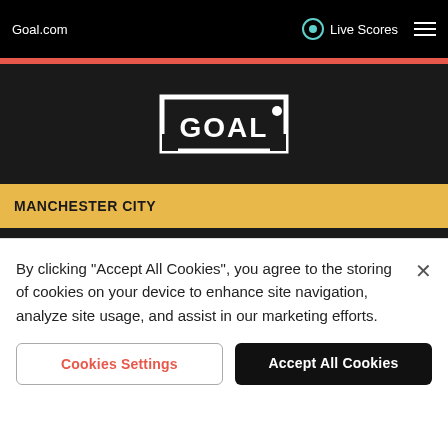Goal.com | Live Scores
[Figure (logo): GOAL logo - white text with goal post frame on dark background]
MANCHESTER CITY
No winning mentality? Man City prove Guardiola right to remain in control of the title race
By clicking "Accept All Cookies", you agree to the storing of cookies on your device to enhance site navigation, analyze site usage, and assist in our marketing efforts.